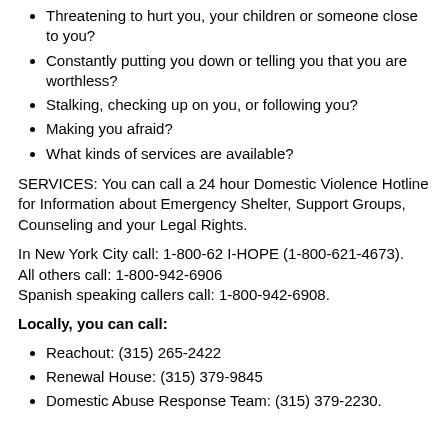Threatening to hurt you, your children or someone close to you?
Constantly putting you down or telling you that you are worthless?
Stalking, checking up on you, or following you?
Making you afraid?
What kinds of services are available?
SERVICES: You can call a 24 hour Domestic Violence Hotline for Information about Emergency Shelter, Support Groups, Counseling and your Legal Rights.
In New York City call: 1-800-62 I-HOPE (1-800-621-4673).
All others call: 1-800-942-6906
Spanish speaking callers call: 1-800-942-6908.
Locally, you can call:
Reachout: (315) 265-2422
Renewal House: (315) 379-9845
Domestic Abuse Response Team: (315) 379-2230.